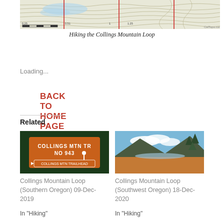[Figure (map): Topographic map of Collings Mountain Loop hiking trail with contour lines, water features, and red grid lines. CalTopo.com watermark visible.]
Hiking the Collings Mountain Loop
BACK TO HOME PAGE
Loading...
Related
[Figure (photo): Orange trail sign reading COLLINGS MTN TR NO 943 with COLLINGS MTN TRAILHEAD below]
Collings Mountain Loop (Southern Oregon) 09-Dec-2019
In 'Hiking'
[Figure (photo): Landscape photo of mountain valley with blue sky and orange/brown terrain]
Collings Mountain Loop (Southwest Oregon) 18-Dec-2020
In 'Hiking'